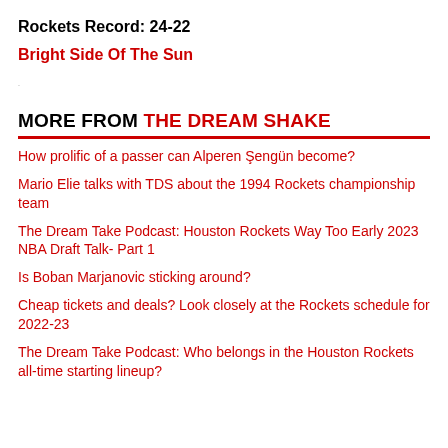Rockets Record: 24-22
Bright Side Of The Sun
MORE FROM THE DREAM SHAKE
How prolific of a passer can Alperen Şengün become?
Mario Elie talks with TDS about the 1994 Rockets championship team
The Dream Take Podcast: Houston Rockets Way Too Early 2023 NBA Draft Talk- Part 1
Is Boban Marjanovic sticking around?
Cheap tickets and deals? Look closely at the Rockets schedule for 2022-23
The Dream Take Podcast: Who belongs in the Houston Rockets all-time starting lineup?